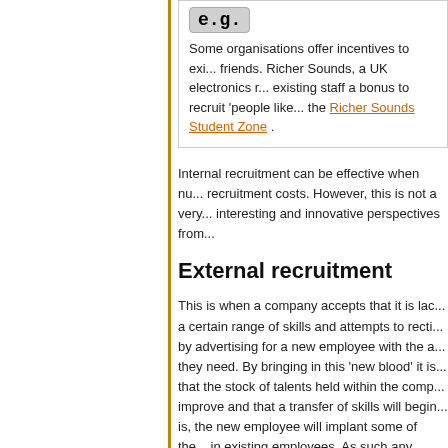Some organisations offer incentives to existing staff to recruit friends. Richer Sounds, a UK electronics retailer, gives existing staff a bonus to recruit 'people like them'. Visit the Richer Sounds Student Zone .
Internal recruitment can be effective when numbers reduce recruitment costs. However, this is not a very interesting and innovative perspectives from...
External recruitment
This is when a company accepts that it is lacking a certain range of skills and attempts to rectify this by advertising for a new employee with the attributes they need. By bringing in this 'new blood' it is hoped that the stock of talents held within the company will improve and that a transfer of skills will begin. That is, the new employee will implant some of their skills in existing employees. As such any competitive advantage should be addressed. The company hopes that by increasing its stock of talents...